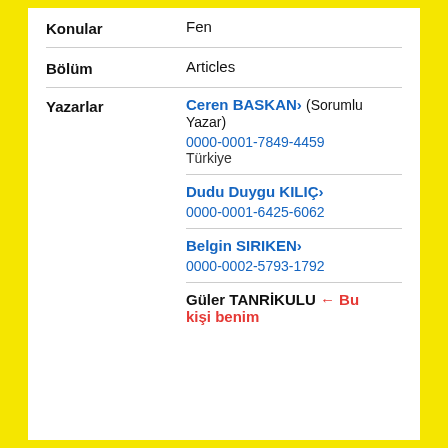| Konular | Fen |
| --- | --- |
| Konular | Fen |
| Bölüm | Articles |
| Yazarlar | Ceren BASKAN› (Sorumlu Yazar)
0000-0001-7849-4459
Türkiye

Dudu Duygu KILIÇ›
0000-0001-6425-6062

Belgin SIRIKEN›
0000-0002-5793-1792

Güler TANRİKULU ← Bu kişi benim |